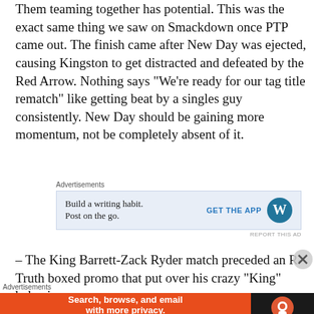Them teaming together has potential. This was the exact same thing we saw on Smackdown once PTP came out. The finish came after New Day was ejected, causing Kingston to get distracted and defeated by the Red Arrow. Nothing says “We’re ready for our tag title rematch” like getting beat by a singles guy consistently. New Day should be gaining more momentum, not be completely absent of it.
[Figure (screenshot): Advertisement: WordPress app ad with text 'Build a writing habit. Post on the go.' and 'GET THE APP' button with WordPress logo on blue background]
– The King Barrett-Zack Ryder match preceded an R-Truth boxed promo that put over his crazy “King” behavior
[Figure (screenshot): Advertisement: DuckDuckGo app ad with text 'Search, browse, and email with more privacy. All in One Free App' on orange background with DuckDuckGo logo on dark background]